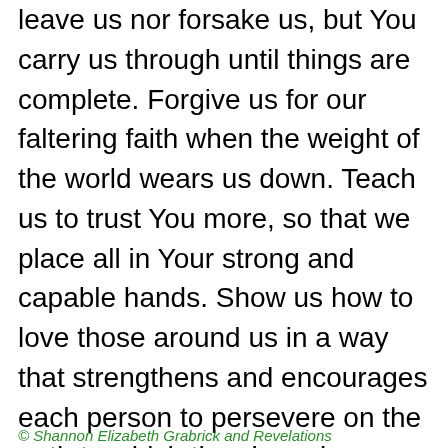leave us nor forsake us, but You carry us through until things are complete. Forgive us for our faltering faith when the weight of the world wears us down. Teach us to trust You more, so that we place all in Your strong and capable hands. Show us how to love those around us in a way that strengthens and encourages each person to persevere on the path to which they have been called. May many come into a lasting relationship with You. Be glorified O God, as we trust in Your eternal goodness and Your capacity to lead and carry us through all things. Amen.
© Shannon Elizabeth Grabrick and Revelations